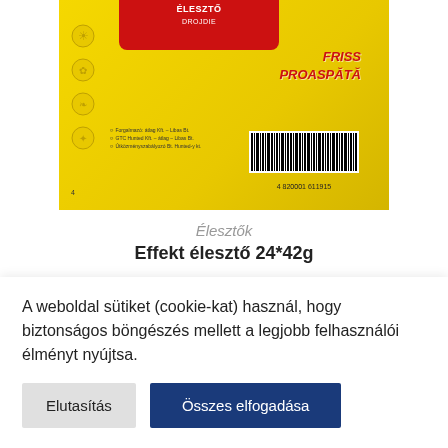[Figure (photo): Yellow yeast product box (Effekt élesztő) with red top label showing 'ÉLESZTŐ DROJDIE', red text 'FRISS PROASPĂTĂ' on the side, small printed info text, and a barcode reading '4 820001 611915']
Élesztők
Effekt élesztő 24*42g
A weboldal sütiket (cookie-kat) használ, hogy biztonságos böngészés mellett a legjobb felhasználói élményt nyújtsa.
Elutasítás
Összes elfogadása